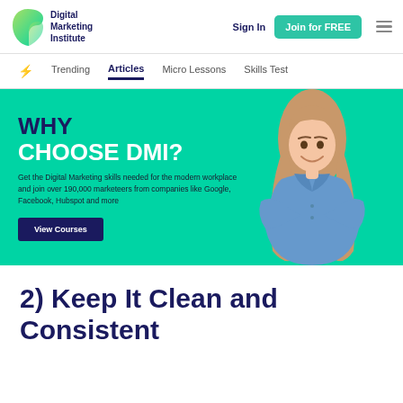Digital Marketing Institute | Sign In | Join for FREE
Trending | Articles | Micro Lessons | Skills Test
[Figure (screenshot): Promotional banner with teal background showing 'WHY CHOOSE DMI?' headline, description text about digital marketing skills, a View Courses button, and a smiling woman with crossed arms on the right side]
2) Keep It Clean and Consistent